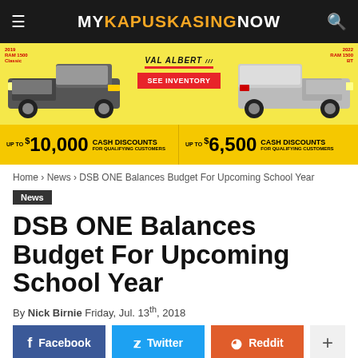MY KAPUSKASING NOW
[Figure (photo): Val Albert Chrysler truck dealership advertisement banner showing two RAM 1500 trucks with cash discounts up to $10,000 and $6,500 for qualifying customers]
Home › News › DSB ONE Balances Budget For Upcoming School Year
News
DSB ONE Balances Budget For Upcoming School Year
By Nick Birnie Friday, Jul. 13th, 2018
Facebook  Twitter  Reddit  +